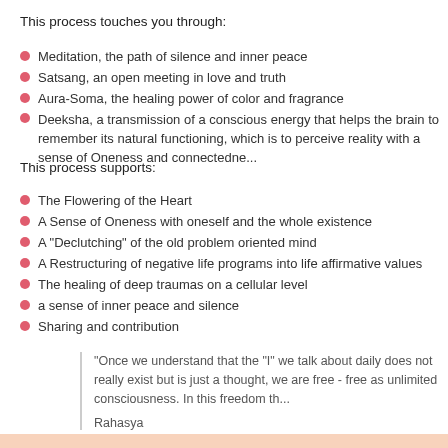This process touches you through:
Meditation, the path of silence and inner peace
Satsang, an open meeting in love and truth
Aura-Soma, the healing power of color and fragrance
Deeksha, a transmission of a conscious energy that helps the brain to remember its natural functioning, which is to perceive reality with a sense of Oneness and connectedness
This process supports:
The Flowering of the Heart
A Sense of Oneness with oneself and the whole existence
A "Declutching" of the old problem oriented mind
A Restructuring of negative life programs into life affirmative values
The healing of deep traumas on a cellular level
a sense of inner peace and silence
Sharing and contribution
"Once we understand that the "I" we talk about daily does not really exist but is just a thought, we are free - free as unlimited consciousness. In this freedom th...
Rahasya